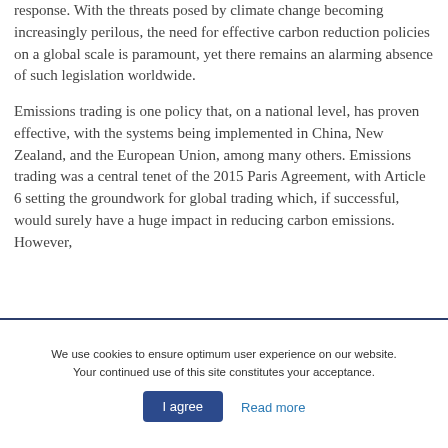response. With the threats posed by climate change becoming increasingly perilous, the need for effective carbon reduction policies on a global scale is paramount, yet there remains an alarming absence of such legislation worldwide.
Emissions trading is one policy that, on a national level, has proven effective, with the systems being implemented in China, New Zealand, and the European Union, among many others. Emissions trading was a central tenet of the 2015 Paris Agreement, with Article 6 setting the groundwork for global trading which, if successful, would surely have a huge impact in reducing carbon emissions.  However,
We use cookies to ensure optimum user experience on our website. Your continued use of this site constitutes your acceptance.
I agree
Read more